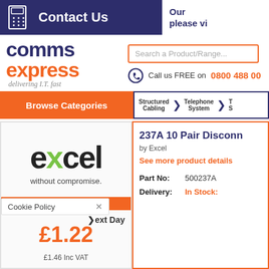Contact Us | Our ... please vi...
[Figure (logo): Comms Express logo - comms in dark blue, express in orange, tagline: delivering I.T. fast]
Search a Product/Range...
Call us FREE on 08800 488 00...
Browse Categories
Structured Cabling | Telephone System | T...
[Figure (logo): Excel without compromise logo]
Cookie Policy
Next Day
£1.22
£1.46 Inc VAT
237A 10 Pair Disconn...
by Excel
See more product details
Part No: 500237A
Delivery: In Stock: